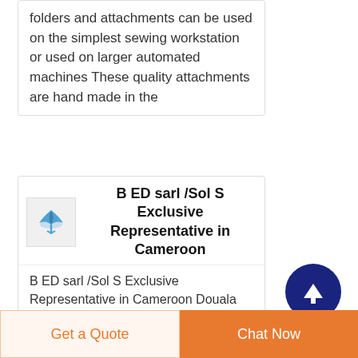folders and attachments can be used on the simplest sewing workstation or used on larger automated machines These quality attachments are hand made in the
B ED sarl /Sol S Exclusive Representative in Cameroon
B ED sarl /Sol S Exclusive Representative in Cameroon Douala Douala Cameroon 281 likes 1 talking about this 24 were here Local Business
[Figure (logo): Small logo icon with blue bird/umbrella shape on white background]
[Figure (other): Dark navy circular scroll-to-top button with white upward arrow]